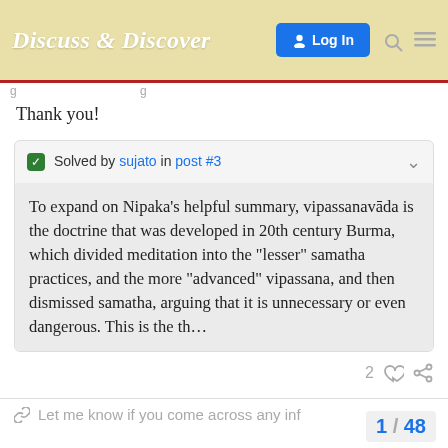Discuss & Discover  Log In
Thank you!
✅ Solved by sujato in post #3
To expand on Nipaka’s helpful summary, vipassanavāda is the doctrine that was developed in 20th century Burma, which divided meditation into the “lesser” samatha practices, and the more “advanced” vipassana, and then dismissed samatha, arguing that it is unnecessary or even dangerous. This is the th…
Let me know if you come across any inf
1 / 48